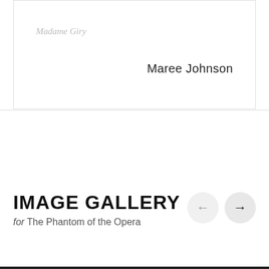Madame Giry
Maree Johnson
IMAGE GALLERY
for The Phantom of the Opera